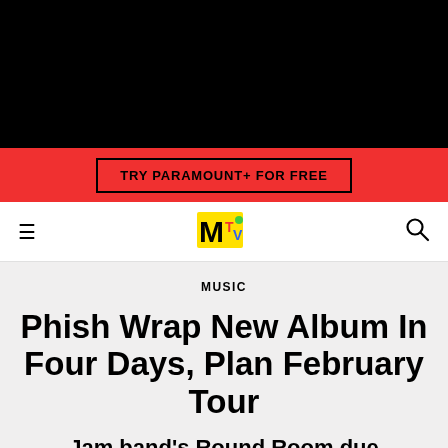[Figure (screenshot): Black header bar background]
TRY PARAMOUNT+ FOR FREE
[Figure (logo): MTV logo in yellow with colorful M]
MUSIC
Phish Wrap New Album In Four Days, Plan February Tour
Jam band's Round Room due December 10.